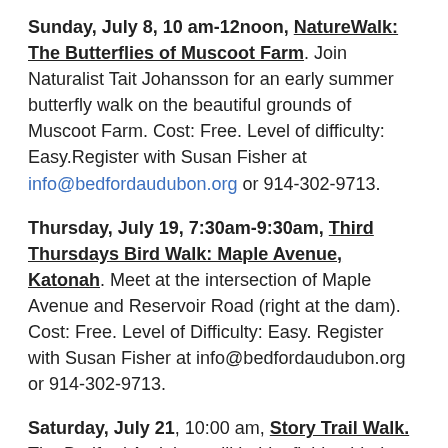Sunday, July 8, 10 am-12noon, NatureWalk: The Butterflies of Muscoot Farm. Join Naturalist Tait Johansson for an early summer butterfly walk on the beautiful grounds of Muscoot Farm. Cost: Free. Level of difficulty: Easy.Register with Susan Fisher at info@bedfordaudubon.org or 914-302-9713.
Thursday, July 19, 7:30am-9:30am, Third Thursdays Bird Walk: Maple Avenue, Katonah. Meet at the intersection of Maple Avenue and Reservoir Road (right at the dam). Cost: Free. Level of Difficulty: Easy. Register with Susan Fisher at info@bedfordaudubon.org or 914-302-9713.
Saturday, July 21, 10:00 am, Story Trail Walk. The Bedford Audubon will hold a field guided Story Trail walk for interested families...